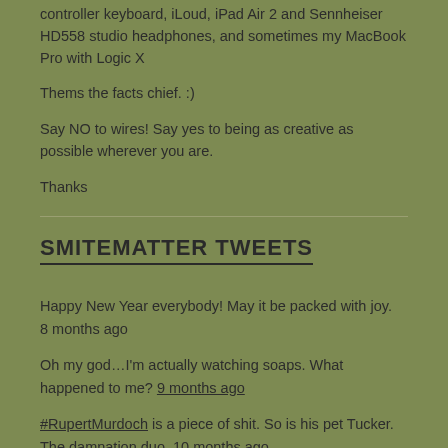controller keyboard, iLoud, iPad Air 2 and Sennheiser HD558 studio headphones, and sometimes my MacBook Pro with Logic X
Thems the facts chief. :)
Say NO to wires! Say yes to being as creative as possible wherever you are.
Thanks
SMITEMATTER TWEETS
Happy New Year everybody! May it be packed with joy. 8 months ago
Oh my god…I'm actually watching soaps. What happened to me? 9 months ago
#RupertMurdoch is a piece of shit. So is his pet Tucker. The damnation duo. 10 months ago